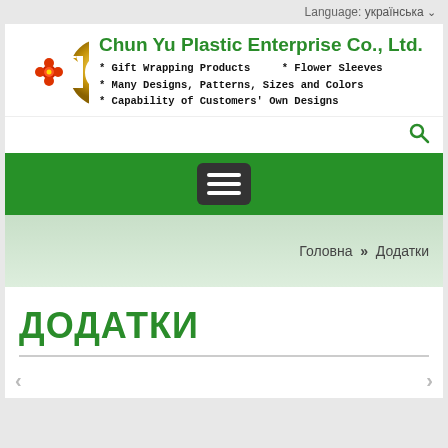Language: українська
[Figure (logo): Chun Yu Plastic Enterprise Co., Ltd. company logo with golden C and red flower, green company name, and bullet points listing products]
[Figure (infographic): Green navigation bar with hamburger menu button]
Головна » Додатки
ДОДАТКИ